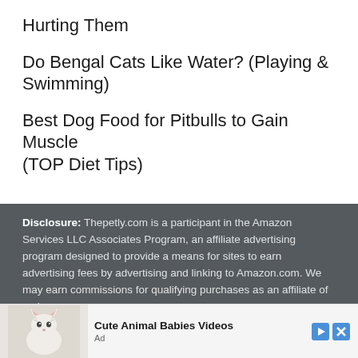Hurting Them
Do Bengal Cats Like Water? (Playing & Swimming)
Best Dog Food for Pitbulls to Gain Muscle (TOP Diet Tips)
Disclosure: Thepetly.com is a participant in the Amazon Services LLC Associates Program, an affiliate advertising program designed to provide a means for sites to earn advertising fees by advertising and linking to Amazon.com. We may earn commissions for qualifying purchases as an affiliate of various programs.
Disclaimer: Thepetly.com does not intend to provide veterinary advice. It's through our own experience and research that we aim to help pet owners understand their furry, feathery, and sometimes fishy friends.
[Figure (other): Advertisement banner showing a kitten with text 'Cute Animal Babies Videos' and an Ad label]